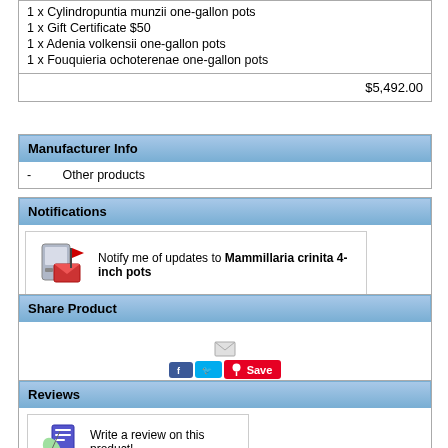1 x Cylindropuntia munzii one-gallon pots
1 x Gift Certificate $50
1 x Adenia volkensii one-gallon pots
1 x Fouquieria ochoterenae one-gallon pots
$5,492.00
Manufacturer Info
- Other products
Notifications
Notify me of updates to Mammillaria crinita 4-inch pots
Share Product
[Figure (infographic): Email, Facebook, Twitter, Pinterest Share buttons]
Reviews
Write a review on this product!